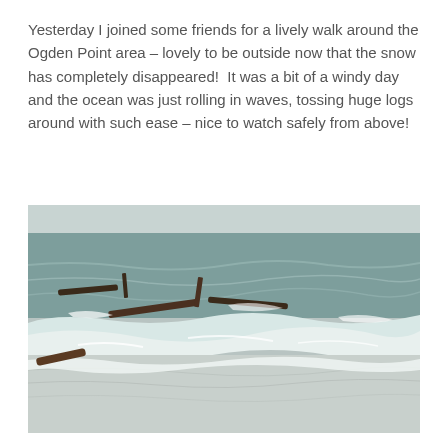Yesterday I joined some friends for a lively walk around the Ogden Point area – lovely to be outside now that the snow has completely disappeared!  It was a bit of a windy day and the ocean was just rolling in waves, tossing huge logs around with such ease – nice to watch safely from above!
[Figure (photo): Aerial or elevated view of ocean waves washing up on a beach shore with large logs being tossed around in the surf. The water is grey-green and choppy with white foam visible along the shoreline.]